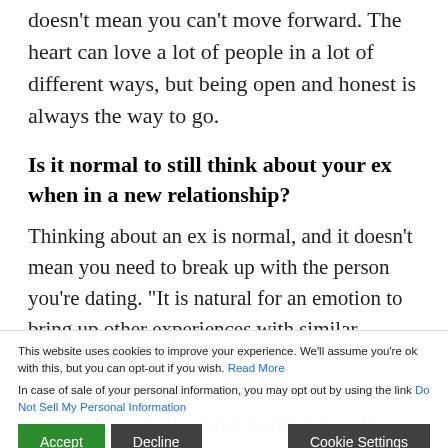doesn't mean you can't move forward. The heart can love a lot of people in a lot of different ways, but being open and honest is always the way to go.
Is it normal to still think about your ex when in a new relationship?
Thinking about an ex is normal, and it doesn't mean you need to break up with the person you're dating. "It is natural for an emotion to bring up other experiences with similar emotions," she said. "The
feelings might match, and in fact, we might realize that our first relationship led to this relationship.
Why am I obsessing over my ex?
You may be having these feelings due to something else, such as nostalgia. You may love the person you
This website uses cookies to improve your experience. We'll assume you're ok with this, but you can opt-out if you wish. Read More
In case of sale of your personal information, you may opt out by using the link Do Not Sell My Personal Information
Accept  Decline  Cookie Settings